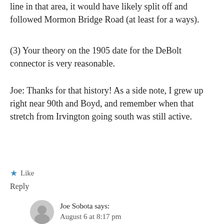line in that area, it would have likely split off and followed Mormon Bridge Road (at least for a ways).
(3) Your theory on the 1905 date for the DeBolt connector is very reasonable.
Joe: Thanks for that history! As a side note, I grew up right near 90th and Boyd, and remember when that stretch from Irvington going south was still active.
★ Like
Reply
Joe Sobota says:
August 6 at 8:17 pm
👍 0 👎 0 ℹ Rate This
Hi again, Jim. In one of the sources I have